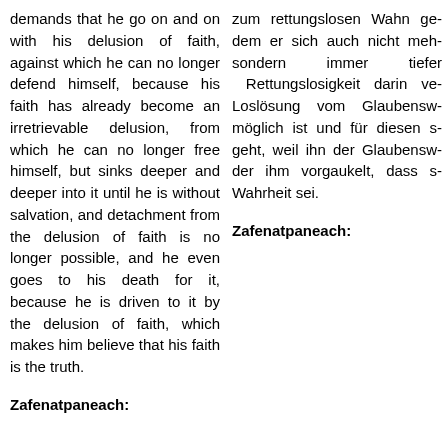demands that he go on and on with his delusion of faith, against which he can no longer defend himself, because his faith has already become an irretrievable delusion, from which he can no longer free himself, but sinks deeper and deeper into it until he is without salvation, and detachment from the delusion of faith is no longer possible, and he even goes to his death for it, because he is driven to it by the delusion of faith, which makes him believe that his faith is the truth.
Zafenatpaneach:
zum rettungslosen Wahn ge dem er sich auch nicht meh sondern immer tiefer Rettungslosigkeit darin ve Loslösung vom Glaubensw möglich ist und für diesen s geht, weil ihn der Glaubensw der ihm vorgaukelt, dass s Wahrheit sei.
Zafenatpaneach: